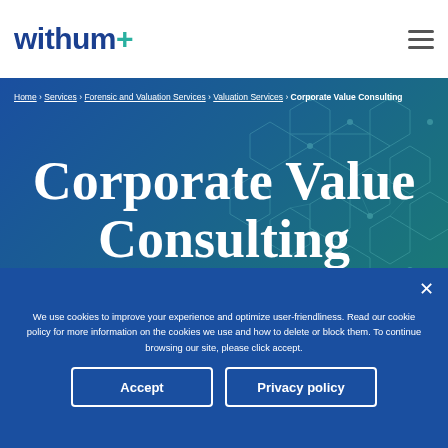withum+
Home › Services › Forensic and Valuation Services › Valuation Services › Corporate Value Consulting
Corporate Value Consulting
We use cookies to improve your experience and optimize user-friendliness. Read our cookie policy for more information on the cookies we use and how to delete or block them. To continue browsing our site, please click accept.
Accept
Privacy policy